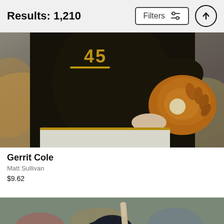Results: 1,210
Filters
[Figure (photo): Baseball pitcher in dark uniform mid-windup, holding a brown glove, wearing number 45, blurred crowd background]
Gerrit Cole
Matt Sullivan
$9.62
[Figure (photo): Baseball batter in light gray uniform and dark helmet, holding bat ready at plate, blurred stadium crowd background]